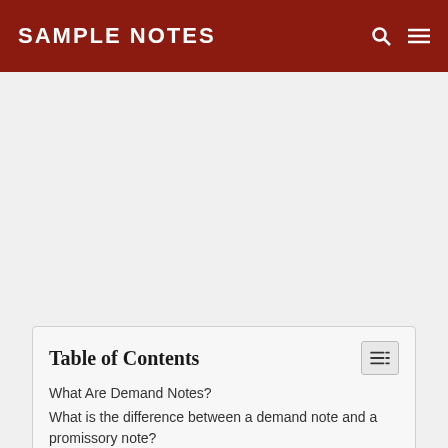SAMPLE NOTES
Table of Contents
What Are Demand Notes?
What is the difference between a demand note and a promissory note?
Demand Note Template (PDF Form)